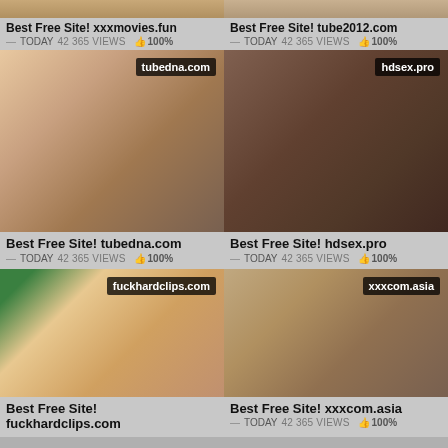Best Free Site! xxxmovies.fun — TODAY  42 365 VIEWS  👍 100%
Best Free Site! tube2012.com — TODAY  42 365 VIEWS  👍 100%
[Figure (photo): Video thumbnail with watermark tubedna.com]
[Figure (photo): Video thumbnail with watermark hdsex.pro]
Best Free Site! tubedna.com — TODAY  42 365 VIEWS  👍 100%
Best Free Site! hdsex.pro — TODAY  42 365 VIEWS  👍 100%
[Figure (photo): Video thumbnail with watermark fuckhardclips.com]
[Figure (photo): Video thumbnail with watermark xxxcom.asia]
Best Free Site! fuckhardclips.com
Best Free Site! xxxcom.asia — TODAY  42 365 VIEWS  👍 100%